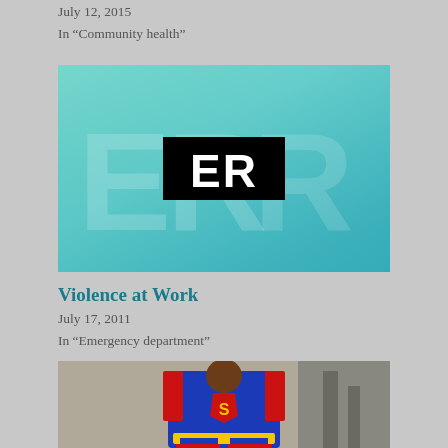July 12, 2015
In "Community health"
[Figure (photo): ER television show logo on a teal/blue gradient background, with large 'ER' letters in a black rectangular box in the center]
Violence at Work
July 17, 2011
In "Emergency department"
[Figure (photo): Person dressed in Superman costume with blue suit, red cape, and yellow belt, standing with hands on hips]